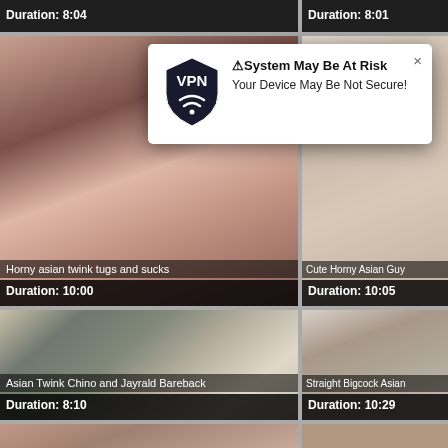Duration: 8:04
Duration: 8:01
[Figure (photo): Video thumbnail - Horny asian twink tugs and sucks, Duration: 10:00]
[Figure (photo): Video thumbnail - Cute Horny Asian Guy, Duration: 10:05]
[Figure (screenshot): VPN popup overlay: System May Be At Risk - Your Device May Be Not Secure!]
[Figure (photo): Video thumbnail - Asian Twink and Jayrald Bareback, Duration: 8:10]
[Figure (photo): Video thumbnail - Straight Bigcock Asian, Duration: 10:29]
[Figure (photo): Video thumbnail bottom row left]
[Figure (photo): Video thumbnail bottom row right]